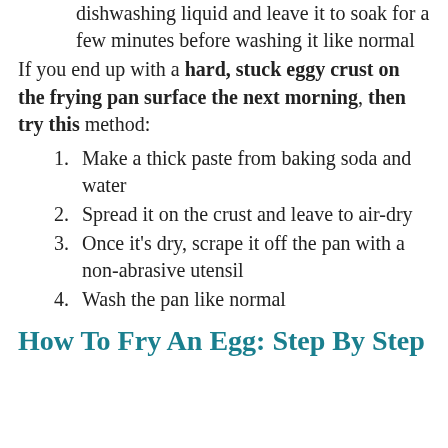2. Fill the pan with boiling water and dishwashing liquid and leave it to soak for a few minutes before washing it like normal
If you end up with a hard, stuck eggy crust on the frying pan surface the next morning, then try this method:
1. Make a thick paste from baking soda and water
2. Spread it on the crust and leave to air-dry
3. Once it's dry, scrape it off the pan with a non-abrasive utensil
4. Wash the pan like normal
How To Fry An Egg: Step By Step